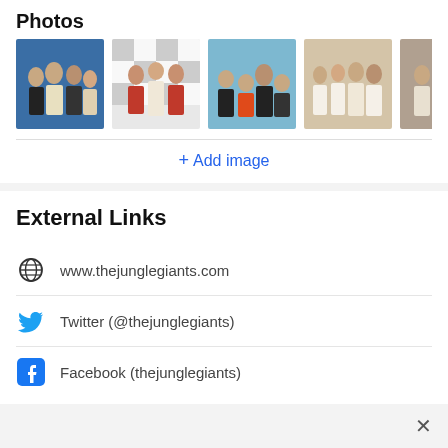Photos
[Figure (photo): Band photo 1 - group of 4 people on blue background]
[Figure (photo): Band photo 2 - group of 3 people on checkered background]
[Figure (photo): Band photo 3 - group on dark background]
[Figure (photo): Band photo 4 - group in white on beige background]
[Figure (photo): Band photo 5 - partially visible, cut off]
+ Add image
External Links
www.thejunglegiants.com
Twitter (@thejunglegiants)
Facebook (thejunglegiants)